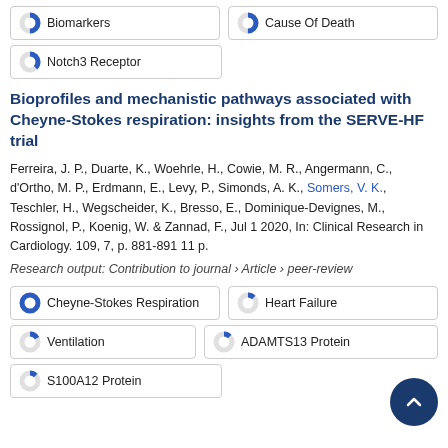Biomarkers
Cause Of Death
Notch3 Receptor
Bioprofiles and mechanistic pathways associated with Cheyne-Stokes respiration: insights from the SERVE-HF trial
Ferreira, J. P., Duarte, K., Woehrle, H., Cowie, M. R., Angermann, C., d'Ortho, M. P., Erdmann, E., Levy, P., Simonds, A. K., Somers, V. K., Teschler, H., Wegscheider, K., Bresso, E., Dominique-Devignes, M., Rossignol, P., Koenig, W. & Zannad, F., Jul 1 2020, In: Clinical Research in Cardiology. 109, 7, p. 881-891 11 p.
Research output: Contribution to journal › Article › peer-review
Cheyne-Stokes Respiration
Heart Failure
Ventilation
ADAMTS13 Protein
S100A12 Protein